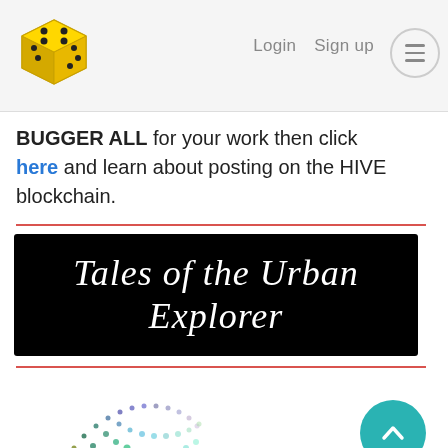Login  Sign up  ☰
BUGGER ALL for your work then click here and learn about posting on the HIVE blockchain.
[Figure (logo): Tales of the Urban Explorer banner — white cursive script on black background]
[Figure (logo): Curie logo — colorful dot-pattern arc around a green C lettermark, with 'curie' text in teal lowercase]